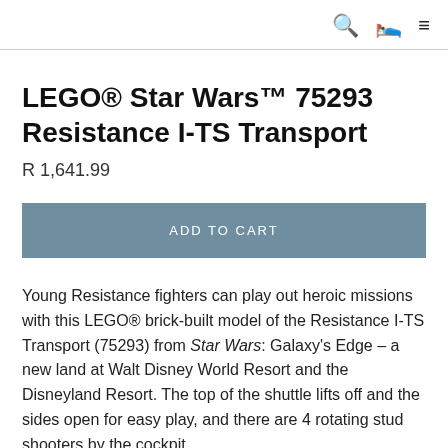🔍 🛍 ≡
LEGO® Star Wars™ 75293 Resistance I-TS Transport
R 1,641.99
ADD TO CART
Young Resistance fighters can play out heroic missions with this LEGO® brick-built model of the Resistance I-TS Transport (75293) from Star Wars: Galaxy's Edge – a new land at Walt Disney World Resort and the Disneyland Resort. The top of the shuttle lifts off and the sides open for easy play, and there are 4 rotating stud shooters by the cockpit